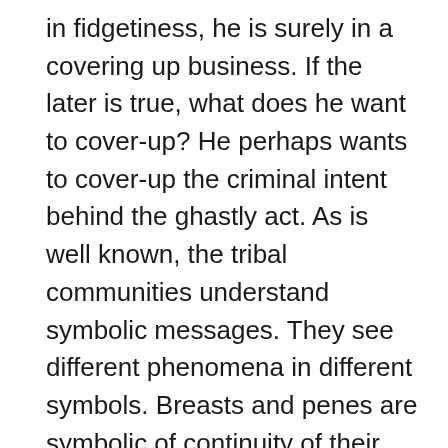in fidgetiness, he is surely in a covering up business. If the later is true, what does he want to cover-up? He perhaps wants to cover-up the criminal intent behind the ghastly act. As is well known, the tribal communities understand symbolic messages. They see different phenomena in different symbols. Breasts and penes are symbolic of continuity of their clans. By chopping off these two most vital organs, the message that their reproduction would be interfered with if they go against the Industry was intended to be transmitted.
Had Orissa ever fallen in the hands of such brutos?